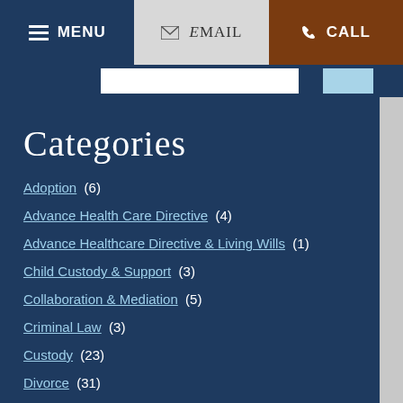MENU | EMAIL | CALL
Categories
Adoption (6)
Advance Health Care Directive (4)
Advance Healthcare Directive & Living Wills (1)
Child Custody & Support (3)
Collaboration & Mediation (5)
Criminal Law (3)
Custody (23)
Divorce (31)
DOMA (2)
DUI (3)